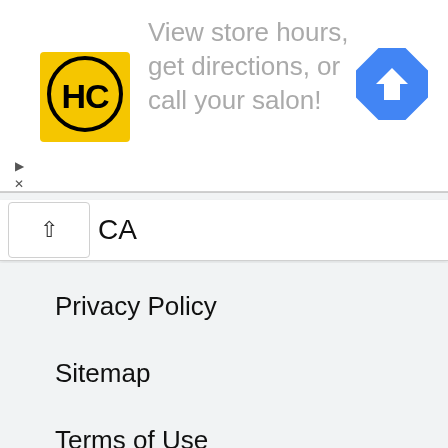[Figure (logo): HC logo — yellow square with black stylized HC letters and circle design]
View store hours, get directions, or call your salon!
[Figure (illustration): Blue diamond navigation/directions icon with white right-turn arrow]
CA
Privacy Policy
Sitemap
Terms of Use